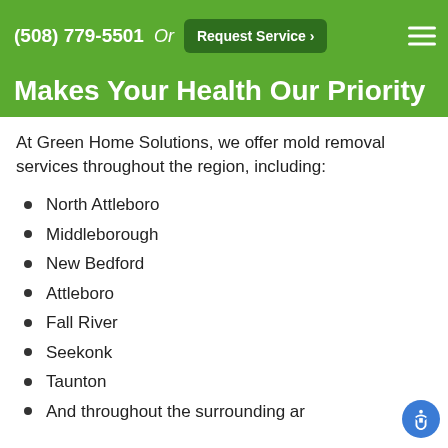(508) 779-5501  Or  Request Service ›
Makes Your Health Our Priority
At Green Home Solutions, we offer mold removal services throughout the region, including:
North Attleboro
Middleborough
New Bedford
Attleboro
Fall River
Seekonk
Taunton
And throughout the surrounding ar…